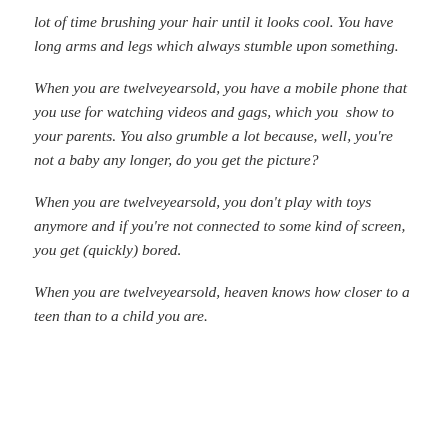lot of time brushing your hair until it looks cool. You have long arms and legs which always stumble upon something.
When you are twelveyearsold, you have a mobile phone that you use for watching videos and gags, which you  show to your parents. You also grumble a lot because, well, you're not a baby any longer, do you get the picture?
When you are twelveyearsold, you don't play with toys anymore and if you're not connected to some kind of screen, you get (quickly) bored.
When you are twelveyearsold, heaven knows how closer to a teen than to a child you are.